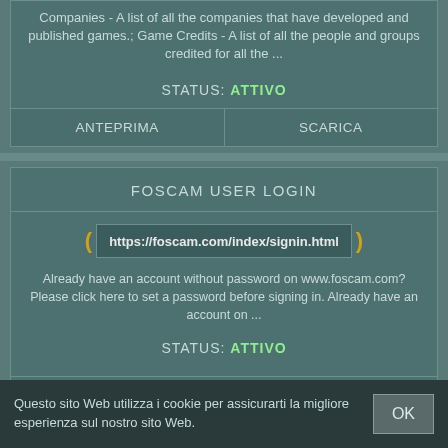Companies - A list of all the companies that have developed and published games.; Game Credits - A list of all the people and groups credited for all the ...
STATUS: ATTIVO
ANTEPRIMA
SCARICA
FOSCAM USER LOGIN
https://foscam.com/index/signin.html
Already have an account without password on www.foscam.com? Please click here to set a password before signing in. Already have an account on ...
STATUS: ATTIVO
Questo sito Web utilizza i cookie per assicurarti la migliore esperienza sul nostro sito Web.
OK